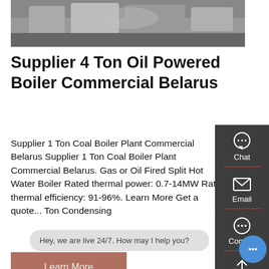[Figure (photo): Industrial boiler equipment photo, partially cropped at top]
Supplier 4 Ton Oil Powered Boiler Commercial Belarus
Supplier 1 Ton Coal Boiler Plant Commercial Belarus Supplier 1 Ton Coal Boiler Plant Commercial Belarus. Gas or Oil Fired Split Hot Water Boiler Rated thermal power: 0.7-14MW Rated thermal efficiency: 91-96%. Learn More Get a quote... Ton Condensing
[Figure (screenshot): Sidebar with Chat, Email, Contact icons and scroll-to-top arrow on dark background]
Learn More
Hey, we are live 24/7. How may I help you?
Related B